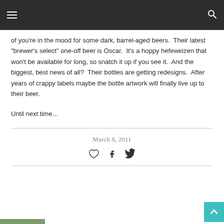Navigation bar with hamburger menu and search icon
of you're in the mood for some dark, barrel-aged beers.  Their latest "brewer's select" one-off beer is Oscar.  It's a hoppy hefeweizen that won't be available for long, so snatch it up if you see it.  And the biggest, best news of all?  Their bottles are getting redesigns.  After years of crappy labels maybe the bottle artwork will finally live up to their beer.
Until next time…
March 8, 2011
[Figure (other): Social sharing icons: heart (like), Facebook, Twitter]
[Figure (other): Back to top button (teal/turquoise) with upward arrow, bottom right corner]
[Figure (other): Green/olive colored bar at bottom left, partial view]